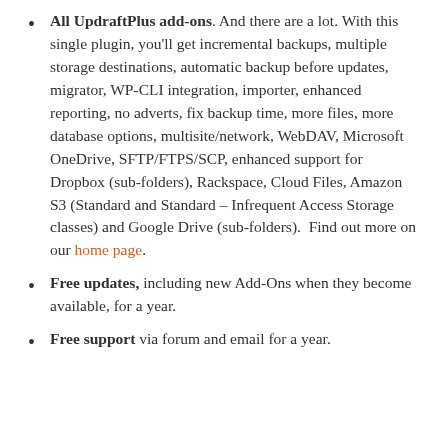All UpdraftPlus add-ons. And there are a lot. With this single plugin, you'll get incremental backups, multiple storage destinations, automatic backup before updates, migrator, WP-CLI integration, importer, enhanced reporting, no adverts, fix backup time, more files, more database options, multisite/network, WebDAV, Microsoft OneDrive, SFTP/FTPS/SCP, enhanced support for Dropbox (sub-folders), Rackspace, Cloud Files, Amazon S3 (Standard and Standard – Infrequent Access Storage classes) and Google Drive (sub-folders).  Find out more on our home page.
Free updates, including new Add-Ons when they become available, for a year.
Free support via forum and email for a year.